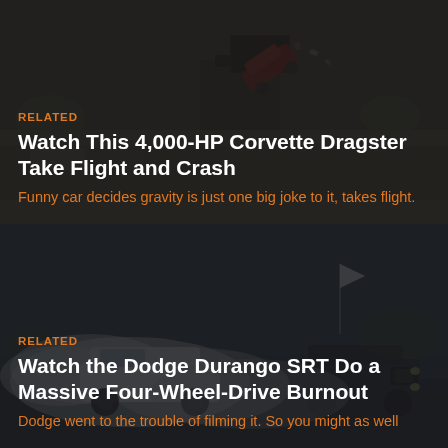[Figure (photo): Dark racetrack scene with a car flipping/taking flight in the air, dramatic motorsport crash image]
RELATED
Watch This 4,000-HP Corvette Dragster Take Flight and Crash
Funny car decides gravity is just one big joke to it, takes flight.
[Figure (photo): Dark scene of a white Dodge Durango doing a burnout with heavy smoke, another vehicle visible in background]
RELATED
Watch the Dodge Durango SRT Do a Massive Four-Wheel-Drive Burnout
Dodge went to the trouble of filming it. So you might as well